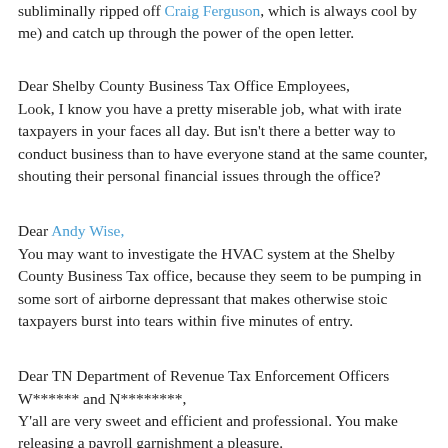subliminally ripped off Craig Ferguson, which is always cool by me) and catch up through the power of the open letter.
Dear Shelby County Business Tax Office Employees, Look, I know you have a pretty miserable job, what with irate taxpayers in your faces all day. But isn't there a better way to conduct business than to have everyone stand at the same counter, shouting their personal financial issues through the office?
Dear Andy Wise, You may want to investigate the HVAC system at the Shelby County Business Tax office, because they seem to be pumping in some sort of airborne depressant that makes otherwise stoic taxpayers burst into tears within five minutes of entry.
Dear TN Department of Revenue Tax Enforcement Officers W****** and N********, Y'all are very sweet and efficient and professional. You make releasing a payroll garnishment a pleasure.